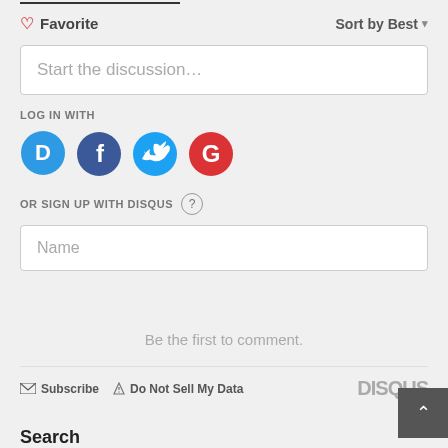♡ Favorite
Sort by Best ▾
Start the discussion…
LOG IN WITH
[Figure (infographic): Four social login icons: Disqus (blue), Facebook (dark blue), Twitter (light blue), Google (red)]
OR SIGN UP WITH DISQUS ?
Name
Be the first to comment.
✉ Subscribe  ▲ Do Not Sell My Data   DISQUS
Search